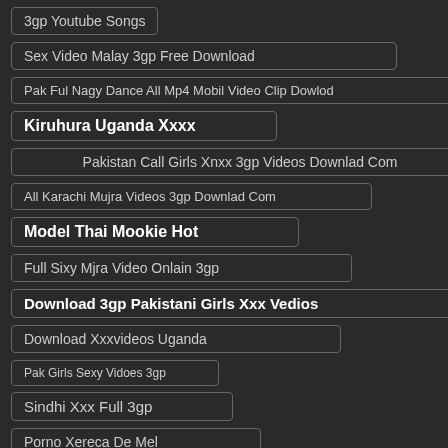3gp Youtube Songs
Sex Video Malay 3gp Free Download
Pak Ful Nagy Dance All Mp4 Mobil Video Clip Dowlod
Kiruhura Uganda Xxxx
Pakistan Call Girls Xnxx 3gp Videos Downlad Com
All Karachi Mujra Videos 3gp Downlad Com
Model Thai Mookie Hot
Full Sixy Mjra Video Onlain 3gp
Download 3gp Pakistani Girls Xxx Vedios
Download Xxxvideos Uganda
Pak Girls Sexy Vidoes 3gp
Sindhi Xxx Full 3gp
Porno Xereca De Mel